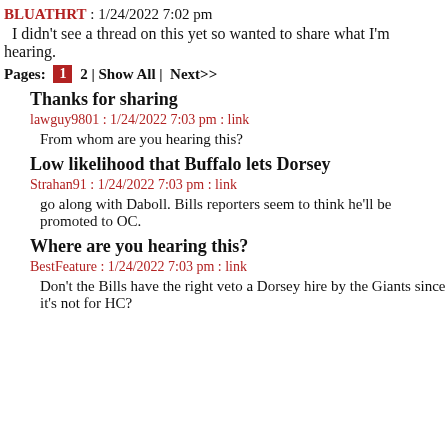BLUATHRT : 1/24/2022 7:02 pm
I didn't see a thread on this yet so wanted to share what I'm hearing.
Pages: 1 2 | Show All | Next>>
Thanks for sharing
lawguy9801 : 1/24/2022 7:03 pm : link
From whom are you hearing this?
Low likelihood that Buffalo lets Dorsey
Strahan91 : 1/24/2022 7:03 pm : link
go along with Daboll. Bills reporters seem to think he'll be promoted to OC.
Where are you hearing this?
BestFeature : 1/24/2022 7:03 pm : link
Don't the Bills have the right veto a Dorsey hire by the Giants since it's not for HC?